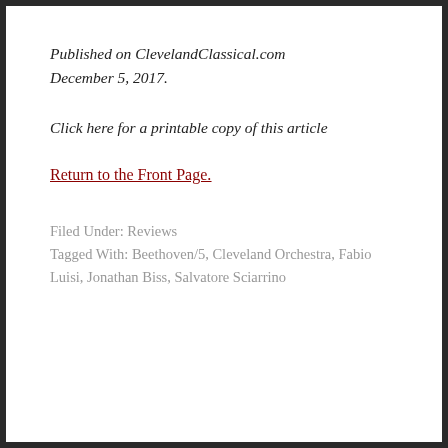Published on ClevelandClassical.com December 5, 2017.
Click here for a printable copy of this article
Return to the Front Page.
Filed Under: Reviews
Tagged With: Beethoven/5, Cleveland Orchestra, Fabio Luisi, Jonathan Biss, Salvatore Sciarrino